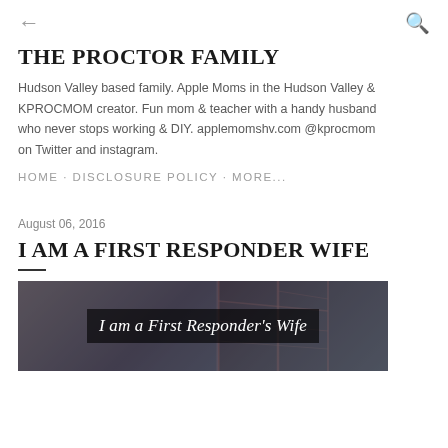← (back) Q (search)
THE PROCTOR FAMILY
Hudson Valley based family. Apple Moms in the Hudson Valley & KPROCMOM creator. Fun mom & teacher with a handy husband who never stops working & DIY. applemomshv.com @kprocmom on Twitter and instagram.
HOME · DISCLOSURE POLICY · MORE...
August 06, 2016
I AM A FIRST RESPONDER WIFE
[Figure (photo): Blog post header image with dark background showing ship masts and text overlay reading 'I am a First Responder's Wife']